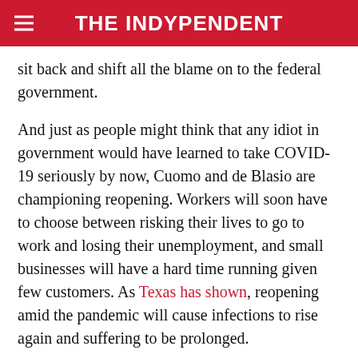THE INDYPENDENT
sit back and shift all the blame on to the federal government.
And just as people might think that any idiot in government would have learned to take COVID-19 seriously by now, Cuomo and de Blasio are championing reopening. Workers will soon have to choose between risking their lives to go to work and losing their unemployment, and small businesses will have a hard time running given few customers. As Texas has shown, reopening amid the pandemic will cause infections to rise again and suffering to be prolonged.
Yet these are of no concern to the mayor and the governor. What they are concerned about are the